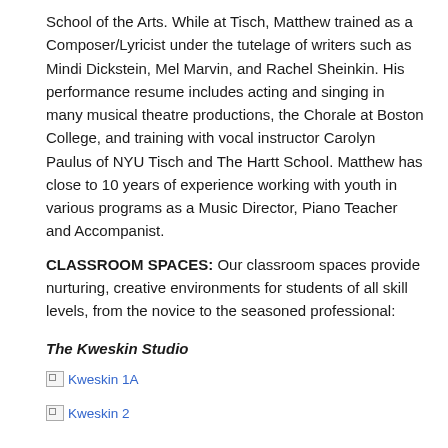School of the Arts. While at Tisch, Matthew trained as a Composer/Lyricist under the tutelage of writers such as Mindi Dickstein, Mel Marvin, and Rachel Sheinkin. His performance resume includes acting and singing in many musical theatre productions, the Chorale at Boston College, and training with vocal instructor Carolyn Paulus of NYU Tisch and The Hartt School. Matthew has close to 10 years of experience working with youth in various programs as a Music Director, Piano Teacher and Accompanist.
CLASSROOM SPACES: Our classroom spaces provide nurturing, creative environments for students of all skill levels, from the novice to the seasoned professional:
The Kweskin Studio
[Figure (photo): Broken image placeholder labeled 'Kweskin 1A']
[Figure (photo): Broken image placeholder labeled 'Kweskin 2']